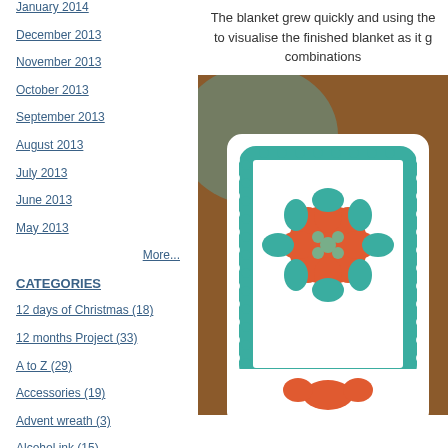January 2014
December 2013
November 2013
October 2013
September 2013
August 2013
July 2013
June 2013
May 2013
More...
CATEGORIES
12 days of Christmas (18)
12 months Project (33)
A to Z (29)
Accessories (19)
Advent wreath (3)
Alcohol ink (15)
Alice in Wonderland (8)
The blanket grew quickly and using the to visualise the finished blanket as it g combinations
[Figure (photo): Close-up photo of a crocheted granny square blanket with orange, teal/green, and white colors]